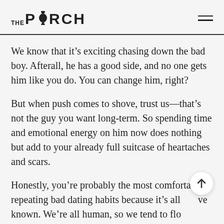THE PORCH
We know that it’s exciting chasing down the bad boy. Afterall, he has a good side, and no one gets him like you do. You can change him, right?
But when push comes to shove, trust us—that’s not the guy you want long-term. So spending time and emotional energy on him now does nothing but add to your already full suitcase of heartaches and scars.
Honestly, you’re probably the most comfortable repeating bad dating habits because it’s all ’ve known. We’re all human, so we tend to flo’ what’s familiar. And we tend to give in when culture tells you to follow your heart instead of informing your heart with God’s word.